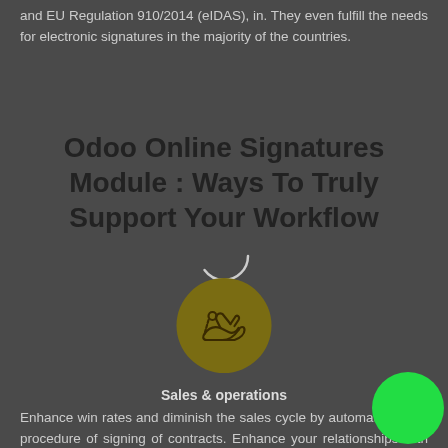and EU Regulation 910/2014 (eIDAS), in. They even fulfill the needs for electronic signatures in the majority of the countries.
Odoo Online Signatures Module : Ways To Truly Support Your Workflow
[Figure (illustration): A circular loading spinner (thin white circle outline) and below it a dark olive/gold circle with a handshake/signature icon inside]
Sales & operations
Enhance win rates and diminish the sales cycle by automatizing the procedure of signing of contracts. Enhance your relationships with clientele